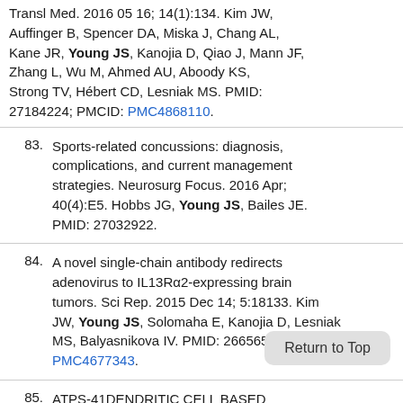Transl Med. 2016 05 16; 14(1):134. Kim JW, Auffinger B, Spencer DA, Miska J, Chang AL, Kane JR, Young JS, Kanojia D, Qiao J, Mann JF, Zhang L, Wu M, Ahmed AU, Aboody KS, Strong TV, Hébert CD, Lesniak MS. PMID: 27184224; PMCID: PMC4868110.
83. Sports-related concussions: diagnosis, complications, and current management strategies. Neurosurg Focus. 2016 Apr; 40(4):E5. Hobbs JG, Young JS, Bailes JE. PMID: 27032922.
84. A novel single-chain antibody redirects adenovirus to IL13Rα2-expressing brain tumors. Sci Rep. 2015 Dec 14; 5:18133. Kim JW, Young JS, Solomaha E, Kanojia D, Lesniak MS, Balyasnikova IV. PMID: 26656559; PMCID: PMC4677343.
85. ATPS-41DENDRITIC CELL BASED IMMUNOTHERAPY OF MALIGNANT GLIOMA VIA A NOVEL CD8+ DC TARGETED ADENOVIRAL...